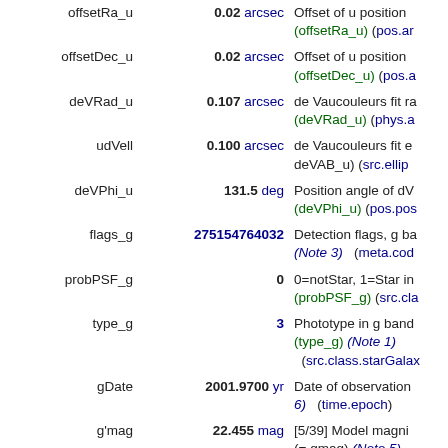| Name | Value | Description |
| --- | --- | --- |
| offsetRa_u | 0.02 arcsec | Offset of u position (offsetRa_u) (pos.ar... |
| offsetDec_u | 0.02 arcsec | Offset of u position (offsetDec_u) (pos.a... |
| deVRad_u | 0.107 arcsec | de Vaucouleurs fit ra... (deVRad_u) (phys.a... |
| udVell | 0.100 arcsec | de Vaucouleurs fit e... deVAB_u) (src.ellip... |
| deVPhi_u | 131.5 deg | Position angle of dV... (deVPhi_u) (pos.pos... |
| flags_g | 275154764032 | Detection flags, g ba... (Note 3) (meta.cod... |
| probPSF_g | 0 | 0=notStar, 1=Star in... (probPSF_g) (src.cla... |
| type_g | 3 | Phototype in g band (type_g) (Note 1) (src.class.starGalax... |
| gDate | 2001.9700 yr | Date of observation... 6) (time.epoch) |
| g'mag | 22.455 mag | [5/39] Model magni... (= gmag) (Note 5) (phot.mag;em.opt.b... |
| e_g'mag | 0.135 mag | Mean error on g'mag... |